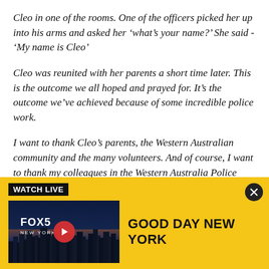Cleo in one of the rooms. One of the officers picked her up into his arms and asked her ‘what’s your name?’ She said - ‘My name is Cleo’
Cleo was reunited with her parents a short time later. This is the outcome we all hoped and prayed for. It’s the outcome we’ve achieved because of some incredible police work.
I want to thank Cleo’s parents, the Western Australian community and the many volunteers. And of course, I want to thank my colleagues in the Western Australia Police Force.
[Figure (screenshot): FOX5 New York 'Good Day New York' watch live banner with yellow background, black WATCH LIVE badge, thumbnail of NYC skyline with play button, and bold title text]